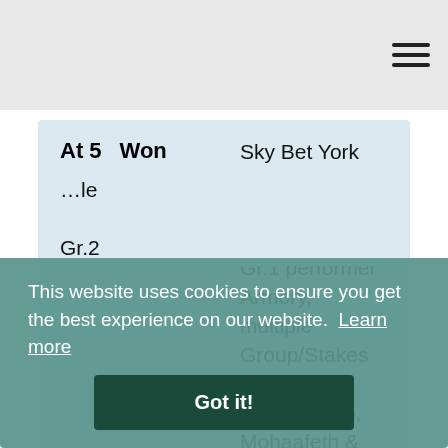At 5  Won  Sky Bet York Stakes Gr.2, York, 1m2f, beating 6-time Gr.1 performer Armory, multiple Group/Stakes performers Juan Elcano, Mohaafeth & Montatham. “He has been placed at this level before and given his toughness and versatility he must be a great horse to own.” Racing Post.
le  Gr.2  Forest of Dean
This website uses cookies to ensure you get the best experience on our website. Learn more  Got it!